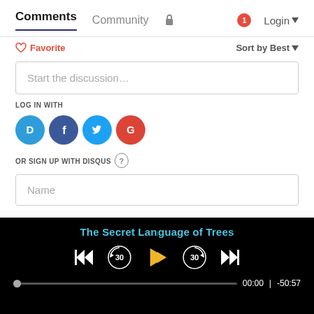Comments  Community  🔒  Login
♡ Favorite    Sort by Best
Start the discussion…
LOG IN WITH
[Figure (screenshot): Social login icons: Disqus (D, blue), Facebook (f, dark blue), Twitter (bird, light blue), Google (G, red)]
OR SIGN UP WITH DISQUS ?
Name
The Secret Language of Trees
Media player controls: skip back, rewind 30s, play, forward 30s, skip forward. Progress bar 00:00 | -50:57